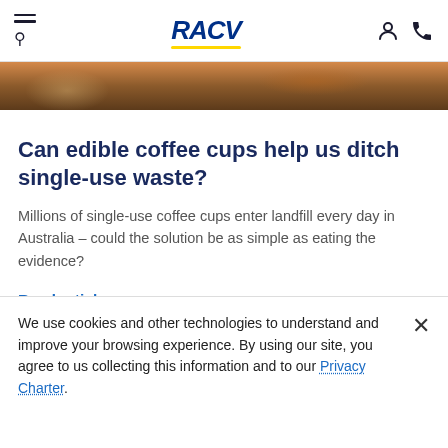RACV
[Figure (photo): Top portion of a food/coffee photo, partially visible at the top of the page]
Can edible coffee cups help us ditch single-use waste?
Millions of single-use coffee cups enter landfill every day in Australia – could the solution be as simple as eating the evidence?
Read article →
[Figure (photo): Bottom portion of a grey/stone surface photo, partially visible]
We use cookies and other technologies to understand and improve your browsing experience. By using our site, you agree to us collecting this information and to our Privacy Charter.